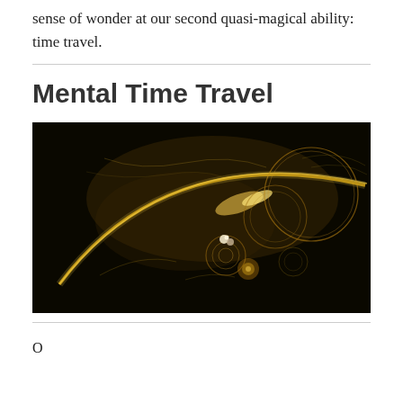sense of wonder at our second quasi-magical ability: time travel.
Mental Time Travel
[Figure (illustration): Abstract fractal art image with dark background featuring golden/amber swirling light trails, glowing orbs, and circular ring patterns suggesting cosmic or quantum phenomena related to time travel.]
O...